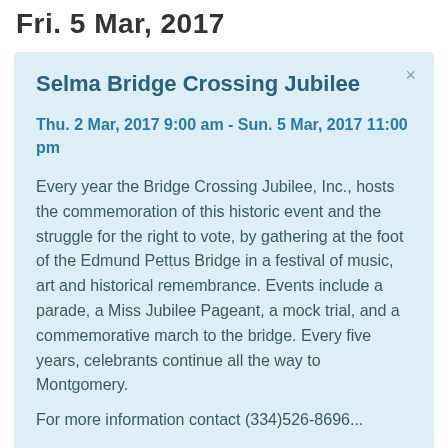Fri. 5 Mar, 2017
Selma Bridge Crossing Jubilee
Thu. 2 Mar, 2017 9:00 am - Sun. 5 Mar, 2017 11:00 pm
Every year the Bridge Crossing Jubilee, Inc., hosts the commemoration of this historic event and the struggle for the right to vote, by gathering at the foot of the Edmund Pettus Bridge in a festival of music, art and historical remembrance. Events include a parade, a Miss Jubilee Pageant, a mock trial, and a commemorative march to the bridge. Every five years, celebrants continue all the way to Montgomery.
For more information contact (334)526-8696...